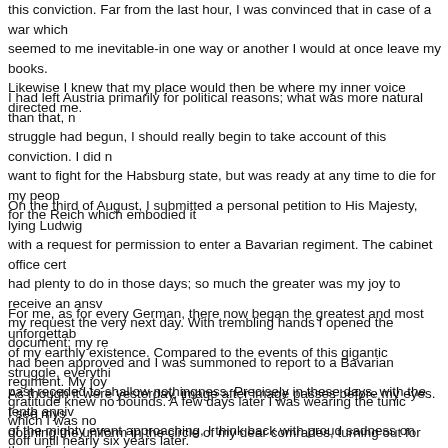seemed to me inevitable-in one way or another I would at once leave my books. Likewise I knew that my place would then be where my inner voice directed me.
I had left Austria primarily for political reasons; what was more natural than that, n struggle had begun, I should really begin to take account of this conviction. I did n want to fight for the Habsburg state, but was ready at any time to die for my peop for the Reich which embodied it
On the third of August, I submitted a personal petition to His Majesty, lying Ludwig with a request for permission to enter a Bavarian regiment. The cabinet office cert had plenty to do in those days; so much the greater was my joy to receive an ansy my request the very next day. With trembling hands I opened the document; my re had been approved and I was summoned to report to a Bavarian regiment. My joy gratitude knew no bounds. A few days later I was wearing the tunic which I was nc doff until nearly six years later.
For me, as for every German, there now began the greatest and most unforgettab of my earthly existence. Compared to the events of this gigantic struggle, everythi past receded to shallow nothingness. Precisely in these days, with the tenth anniv of the mighty event approaching, I think back with proud sadness on those first we our people's heroic struggle, in which Fate graciously allowed me to take part.
As though it were yesterday, image after image passes before my eyes. I see mys donning the uniform in the circle of my dear comrades, turning out for the first time drilling, etc., until the day came for us to march off.
A single worry tormented me at that time, me, as so many others; would we not get